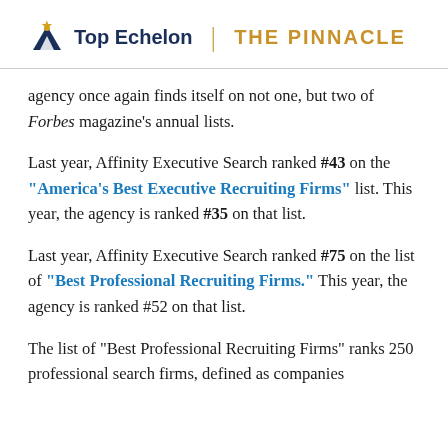Top Echelon | THE PINNACLE
agency once again finds itself on not one, but two of Forbes magazine's annual lists.
Last year, Affinity Executive Search ranked #43 on the "America's Best Executive Recruiting Firms" list. This year, the agency is ranked #35 on that list.
Last year, Affinity Executive Search ranked #75 on the list of "Best Professional Recruiting Firms." This year, the agency is ranked #52 on that list.
The list of “Best Professional Recruiting Firms” ranks 250 professional search firms, defined as companies